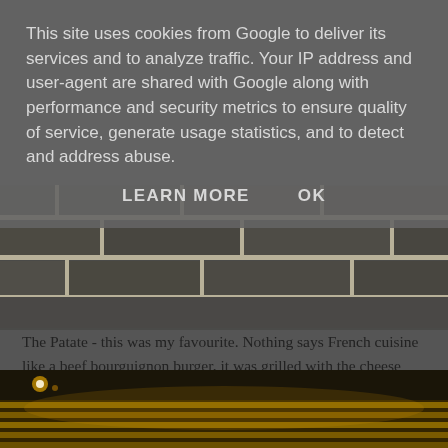This site uses cookies from Google to deliver its services and to analyze traffic. Your IP address and user-agent are shared with Google along with performance and security metrics to ensure quality of service, generate usage statistics, and to detect and address abuse.
LEARN MORE   OK
[Figure (photo): Close-up photo of dark stone or slate brick wall with light-colored mortar joints]
The Patate - this was my favourite. Nothing says French cuisine like a beef bourguignon burger, it was grilled with the cheese melted on top and put into a squidgy bun. Simple but amazing and I would highly recommend trying this one!
[Figure (photo): Interior restaurant photo showing ceiling with warm yellow lighting and metal/industrial roof structure]